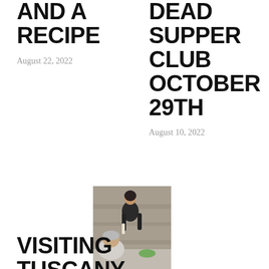AND A RECIPE
August 22, 2022
DEAD SUPPER CLUB OCTOBER 29TH
August 10, 2022
[Figure (photo): A woman in a black sleeveless top pouring or serving something at an outdoor table; an older white-haired man is seated in the foreground.]
VISITING TUSCANY, CHIANTI